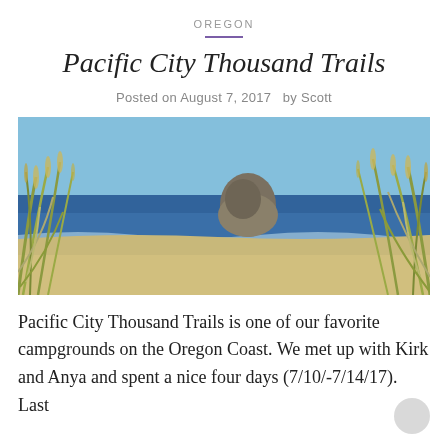OREGON
Pacific City Thousand Trails
Posted on August 7, 2017  by Scott
[Figure (photo): Coastal beach scene with sea grass in the foreground, sandy beach, blue ocean water, and a large rocky sea stack in the middle distance under a clear blue sky.]
Pacific City Thousand Trails is one of our favorite campgrounds on the Oregon Coast. We met up with Kirk and Anya and spent a nice four days (7/10/-7/14/17). Last